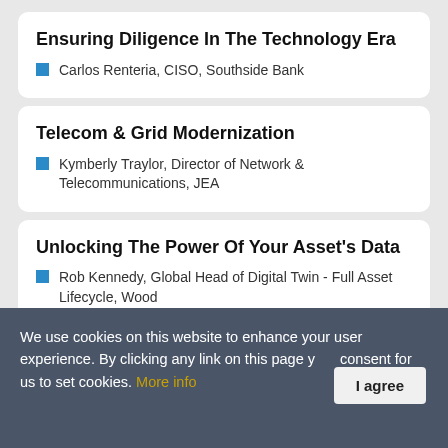Ensuring Diligence In The Technology Era
Carlos Renteria, CISO, Southside Bank
Telecom & Grid Modernization
Kymberly Traylor, Director of Network & Telecommunications, JEA
Unlocking The Power Of Your Asset's Data
Rob Kennedy, Global Head of Digital Twin - Full Asset Lifecycle, Wood
We use cookies on this website to enhance your user experience. By clicking any link on this page you give your consent for us to set cookies. More info